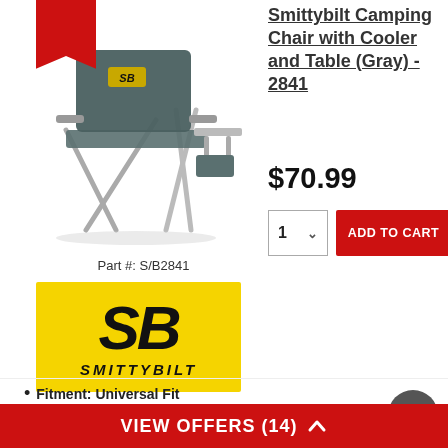[Figure (photo): Gray Smittybilt camping chair with cooler and side table, folding metal frame, shown from side angle. Red 'NEW' ribbon banner in top-left corner.]
Smittybilt Camping Chair with Cooler and Table (Gray) - 2841
$70.99
Part #: S/B2841
[Figure (logo): Smittybilt SB yellow logo with black italic SB letters and SMITTYBILT text below]
Fitment: Universal Fit
+ View More Specs
VIEW OFFERS (14)